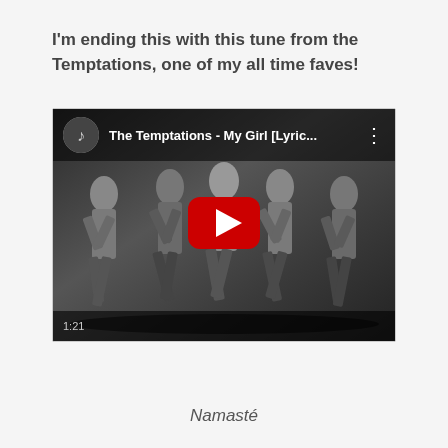I'm ending this with this tune from the Temptations, one of my all time faves!
[Figure (screenshot): YouTube video thumbnail for 'The Temptations - My Girl [Lyric...' showing five men in suits dancing in black and white, with a red YouTube play button overlay]
Namasté